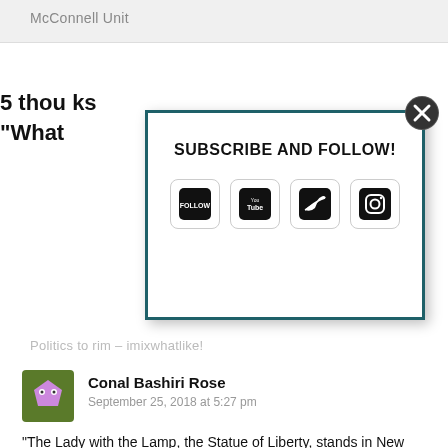McConnell Unit
5 thou…ks
"What…
[Figure (screenshot): Subscribe and Follow modal popup with close button (X) and four social media icon buttons: Follow, YouTube, Twitter, Instagram]
Politics to rim – imixwhatlike!
Conal Bashiri Rose
September 25, 2018 at 5:27 pm
“The Lady with the Lamp, the Statue of Liberty, stands in New York Harbour. Her back is squarely turned on the USA.